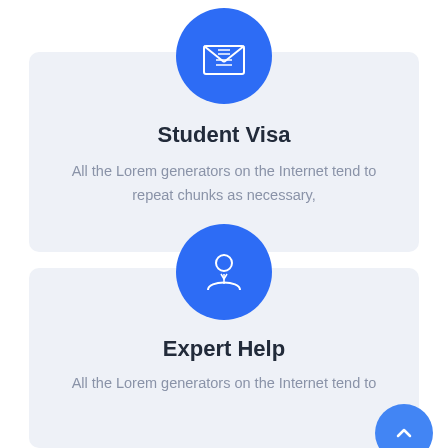[Figure (illustration): Blue circle icon with an envelope/document graphic inside, representing Student Visa service]
Student Visa
All the Lorem generators on the Internet tend to repeat chunks as necessary,
[Figure (illustration): Blue circle icon with a person/professional figure graphic inside, representing Expert Help service]
Expert Help
All the Lorem generators on the Internet tend to